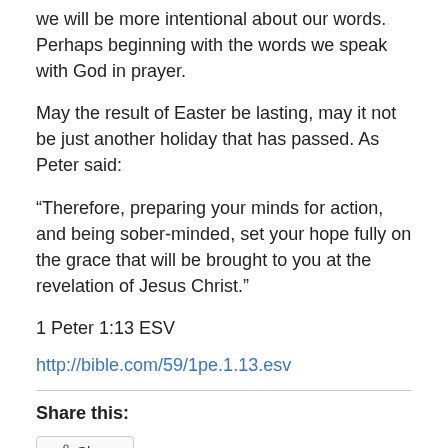we will be more intentional about our words. Perhaps beginning with the words we speak with God in prayer.
May the result of Easter be lasting, may it not be just another holiday that has passed. As Peter said:
“Therefore, preparing your minds for action, and being sober-minded, set your hope fully on the grace that will be brought to you at the revelation of Jesus Christ.”
1 Peter 1:13 ESV
http://bible.com/59/1pe.1.13.esv
Share this:
Share